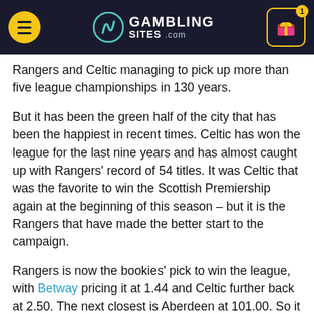GAMBLING SITES .com
Rangers and Celtic managing to pick up more than five league championships in 130 years.
But it has been the green half of the city that has been the happiest in recent times. Celtic has won the league for the last nine years and has almost caught up with Rangers’ record of 54 titles. It was Celtic that was the favorite to win the Scottish Premiership again at the beginning of this season – but it is the Rangers that have made the better start to the campaign.
Rangers is now the bookies’ pick to win the league, with Betway pricing it at 1.44 and Celtic further back at 2.50. The next closest is Aberdeen at 101.00. So it is fair to say that the bookmakers do not expect the trophy to leave Glasgow. But might it be making the short trip south of the River Clyde this season?